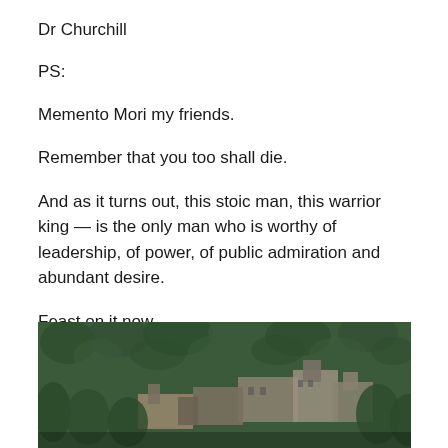Dr Churchill
PS:
Memento Mori my friends.
Remember that you too shall die.
And as it turns out, this stoic man, this warrior king — is the only man who is worthy of leadership, of power, of public admiration and abundant desire.
Feast on it now.
[Figure (photo): Aerial photograph of a historic castle or palace complex surrounded by dense forest/trees, viewed from above at an angle. Stone buildings with ornate architecture visible among green treetops.]